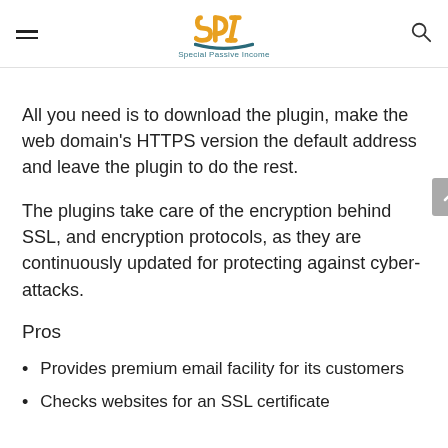SPI Special Passive Income
All you need is to download the plugin, make the web domain's HTTPS version the default address and leave the plugin to do the rest.
The plugins take care of the encryption behind SSL, and encryption protocols, as they are continuously updated for protecting against cyber-attacks.
Pros
Provides premium email facility for its customers
Checks websites for an SSL certificate